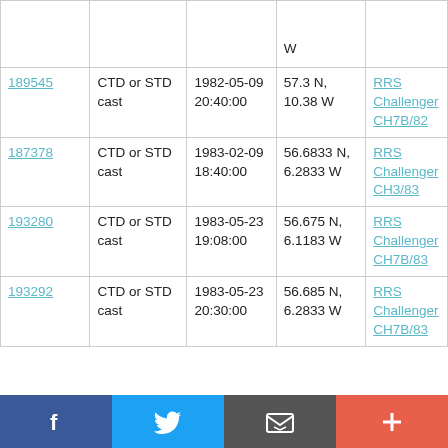| ID | Type | Date | Location | Cruise |
| --- | --- | --- | --- | --- |
|  |  |  | W |  |
| 189545 | CTD or STD cast | 1982-05-09 20:40:00 | 57.3 N, 10.38 W | RRS Challenger CH7B/82 |
| 187378 | CTD or STD cast | 1983-02-09 18:40:00 | 56.6833 N, 6.2833 W | RRS Challenger CH3/83 |
| 193280 | CTD or STD cast | 1983-05-23 19:08:00 | 56.675 N, 6.1183 W | RRS Challenger CH7B/83 |
| 193292 | CTD or STD cast | 1983-05-23 20:30:00 | 56.685 N, 6.2833 W | RRS Challenger CH7B/83 |